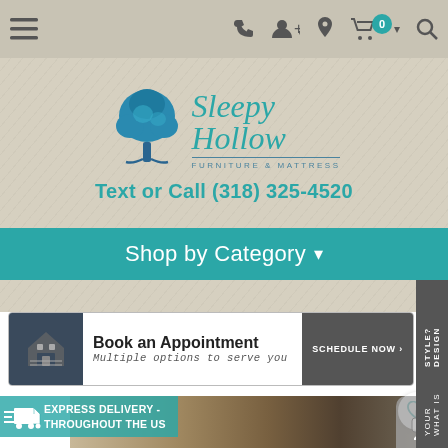Navigation bar with menu, phone, account, location, cart (0), search icons
[Figure (logo): Sleepy Hollow Furniture & Mattress logo with a teal oak tree and teal script text]
Text or Call (318) 325-4520
Shop by Category ▾
[Figure (infographic): Book an Appointment banner: dark background with house/calendar icon, white area with bold text 'Book an Appointment', italic 'Multiple options to serve you', and a Schedule Now button]
[Figure (infographic): EXPRESS DELIVERY - THROUGHOUT THE US badge overlaid on a wood wall art photo]